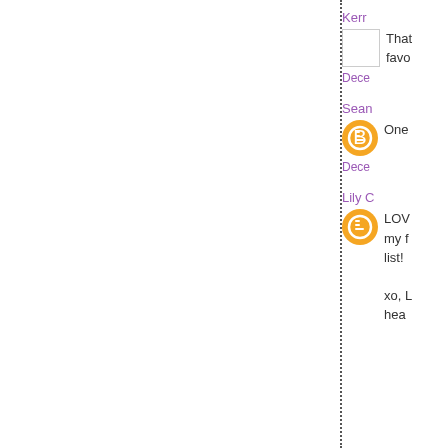Kerr
That favo
Dece
Sean
One
Dece
Lily C
LOV my f list! xo, L hea